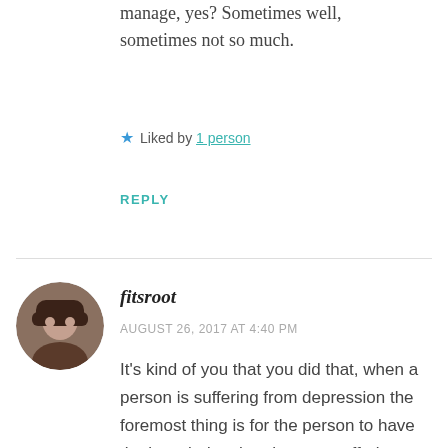manage, yes? Sometimes well, sometimes not so much.
★ Liked by 1 person
REPLY
fitsroot
AUGUST 26, 2017 AT 4:40 PM
It's kind of you that you did that, when a person is suffering from depression the foremost thing is for the person to have the knowledge that they are suffering from this. I am here from India it's still a stigma here. People are not ready to accept it and if they do their family members